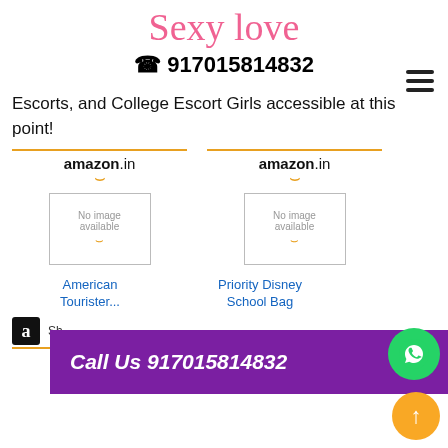Sexy Love
☎ 917015814832
Escorts, and College Escort Girls accessible at this point!
[Figure (logo): amazon.in logo (x2) with orange smile, No image available placeholders]
American Tourister...
Priority Disney School Bag
[Figure (logo): amazon 'a' logo black square]
[Figure (logo): amazon.in logos (x2) bottom row]
Call Us 917015814832